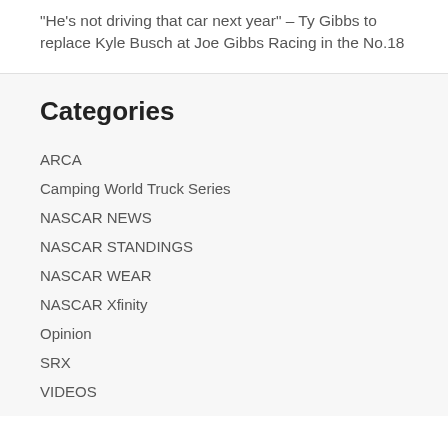“He’s not driving that car next year” – Ty Gibbs to replace Kyle Busch at Joe Gibbs Racing in the No.18
Categories
ARCA
Camping World Truck Series
NASCAR NEWS
NASCAR STANDINGS
NASCAR WEAR
NASCAR Xfinity
Opinion
SRX
VIDEOS